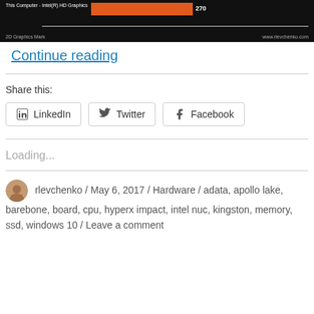[Figure (screenshot): Screenshot of a benchmark chart (2D Graphics Mark) showing 'This Computer - Intel(R) HD Graphics' with an orange bar indicating a score of 270, on a dark background with www.rlevchenko.com watermark.]
Continue reading
Share this:
LinkedIn
Twitter
Facebook
Loading...
rlevchenko / May 6, 2017 / Hardware / adata, apollo lake, barebone, board, cpu, hyperx impact, intel nuc, kingston, memory, ssd, windows 10 / Leave a comment